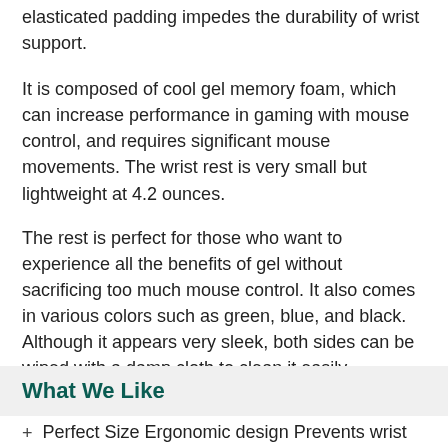elasticated padding impedes the durability of wrist support.
It is composed of cool gel memory foam, which can increase performance in gaming with mouse control, and requires significant mouse movements. The wrist rest is very small but lightweight at 4.2 ounces.
The rest is perfect for those who want to experience all the benefits of gel without sacrificing too much mouse control. It also comes in various colors such as green, blue, and black. Although it appears very sleek, both sides can be wiped with a damp cloth to clean it easily.
What We Like
Perfect Size Ergonomic design Prevents wrist